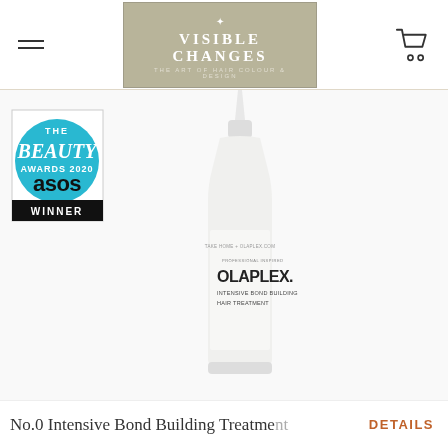[Figure (logo): Visible Changes logo - The Art of Hair Colour & Design, displayed in a khaki/olive colored box with decorative emblem]
[Figure (photo): Olaplex No.0 Intensive Bond Building Hair Treatment product bottle - white dropper bottle with pointed tip, showing OLAPLEX branding. Also shows ASOS The Beauty Awards 2020 Winner badge in blue with black and white text.]
No.0 Intensive Bond Building Treatment
DETAILS